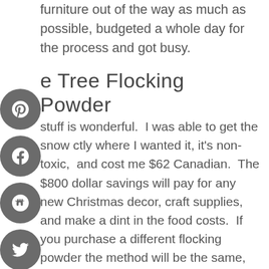furniture out of the way as much as possible, budgeted a whole day for the process and got busy.
e Tree Flocking Powder
stuff is wonderful. I was able to get the snow ctly where I wanted it, it's non-toxic, and cost me $62 Canadian. The $800 dollar savings will pay for any new Christmas decor, craft supplies, and make a dint in the food costs. If you purchase a different flocking powder the method will be the same, just make sure to read the directions on the